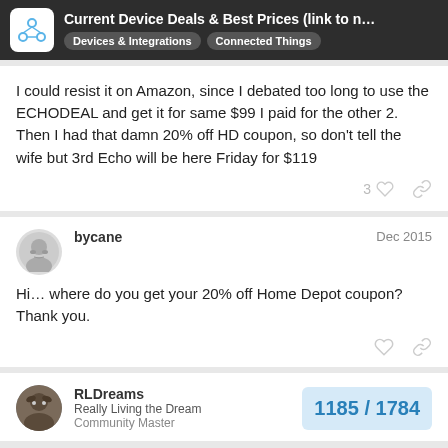Current Device Deals & Best Prices (link to n... | Devices & Integrations | Connected Things
I could resist it on Amazon, since I debated too long to use the ECHODEAL and get it for same $99 I paid for the other 2. Then I had that damn 20% off HD coupon, so don't tell the wife but 3rd Echo will be here Friday for $119
bycane   Dec 2015
Hi… where do you get your 20% off Home Depot coupon? Thank you.
RLDreams  Really Living the Dream  Community Master  1185 / 1784